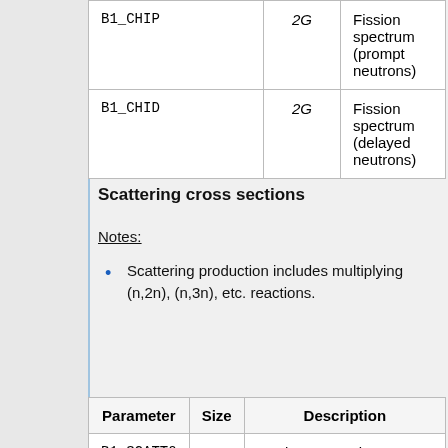| Parameter | Size | Description |
| --- | --- | --- |
| B1_CHIP | 2G | Fission spectrum (prompt neutrons) |
| B1_CHID | 2G | Fission spectrum (delayed neutrons) |
Scattering cross sections
Notes:
Scattering production includes multiplying (n,2n), (n,3n), etc. reactions.
| Parameter | Size | Description |
| --- | --- | --- |
| B1_SCATT0 | 2G | Total P0 scattering cross section |
| B1_SCATT1 | 2G | Total P1 scattering cross section |
| B1_SCATT2 | 2G | Total P2 scattering cross section |